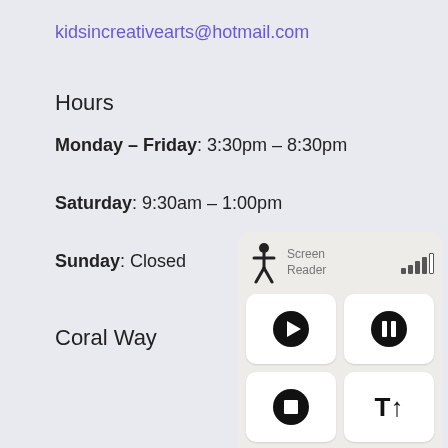kidsincreativearts@hotmail.com
Hours
Monday – Friday: 3:30pm – 8:30pm
Saturday: 9:30am – 1:00pm
Sunday: Closed
Coral Way
[Figure (screenshot): Screen reader widget with play, pause, stop, and text size controls plus signal bars and accessibility icon]